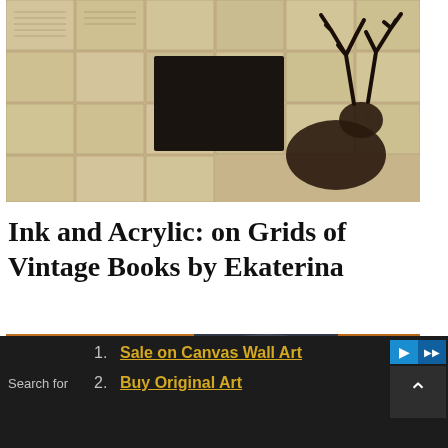[Figure (photo): Artwork photo showing a grid of vintage open books with ink and acrylic painting of a deer/stag with antlers visible in the upper right area]
Ink and Acrylic: on Grids of Vintage Books by Ekaterina
[Figure (photo): Painting of a nighttime medieval town scene with warm orange lamp-lit buildings on the left and dark stormy cloudy sky in the center and right]
Search for
1. Sale on Canvas Wall Art
2. Buy Original Art